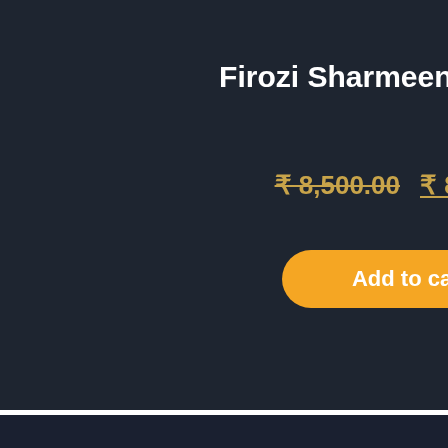Firozi Sharmeen Bridal Set
₹ 8,500.00 ₹ 8,000.00
Add to cart
USD
INR
Sale!
Opportunity